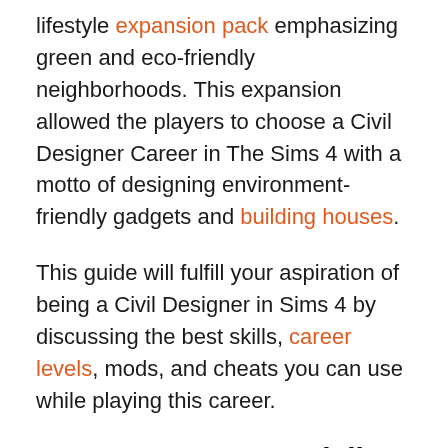lifestyle expansion pack emphasizing green and eco-friendly neighborhoods. This expansion allowed the players to choose a Civil Designer Career in The Sims 4 with a motto of designing environment-friendly gadgets and building houses.
This guide will fulfill your aspiration of being a Civil Designer in Sims 4 by discussing the best skills, career levels, mods, and cheats you can use while playing this career.
How To Become a Civil Designer in The Sims 4?
To become a civil designer, the player must